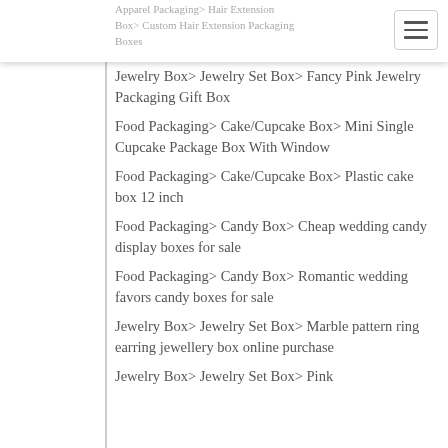Apparel Packaging> Hair Extension Box> Custom Hair Extension Packaging Boxes
Jewelry Box> Jewelry Set Box> Fancy Pink Jewelry Packaging Gift Box
Food Packaging> Cake/Cupcake Box> Mini Single Cupcake Package Box With Window
Food Packaging> Cake/Cupcake Box> Plastic cake box 12 inch
Food Packaging> Candy Box> Cheap wedding candy display boxes for sale
Food Packaging> Candy Box> Romantic wedding favors candy boxes for sale
Jewelry Box> Jewelry Set Box> Marble pattern ring earring jewellery box online purchase
Jewelry Box> Jewelry Set Box> Pink ...